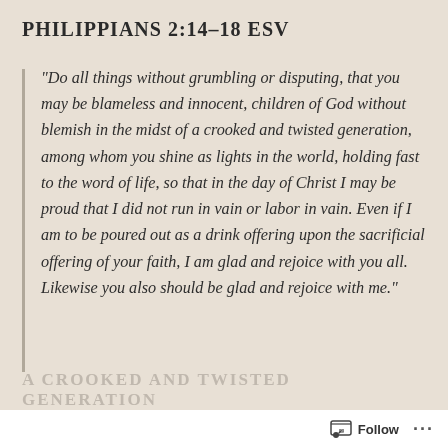PHILIPPIANS 2:14–18 ESV
“Do all things without grumbling or disputing, that you may be blameless and innocent, children of God without blemish in the midst of a crooked and twisted generation, among whom you shine as lights in the world, holding fast to the word of life, so that in the day of Christ I may be proud that I did not run in vain or labor in vain. Even if I am to be poured out as a drink offering upon the sacrificial offering of your faith, I am glad and rejoice with you all. Likewise you also should be glad and rejoice with me.”
A CROOKED AND TWISTED GENERATION
Follow